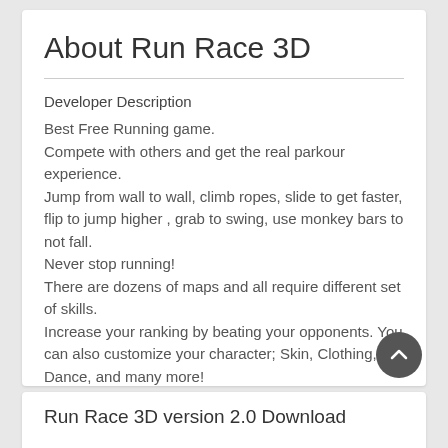About Run Race 3D
Developer Description
Best Free Running game.
Compete with others and get the real parkour experience.
Jump from wall to wall, climb ropes, slide to get faster, flip to jump higher , grab to swing, use monkey bars to not fall.
Never stop running!
There are dozens of maps and all require different set of skills.
Increase your ranking by beating your opponents.  You can also customize your character; Skin, Clothing, Dance, and many more!
Run Race 3D version 2.0 Download